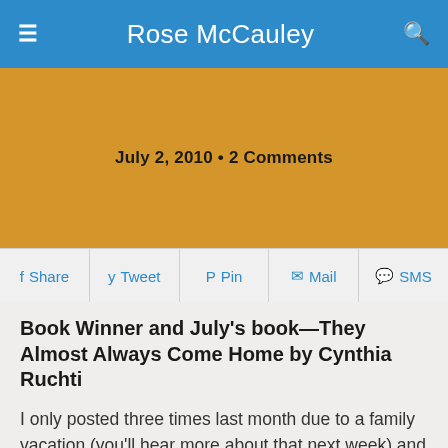Rose McCauley
July 2, 2010 • 2 Comments
Share  Tweet  Pin  Mail  SMS
Book Winner and July's book—They Almost Always Come Home by Cynthia Ruchti
I only posted three times last month due to a family vacation (you'll hear more about that next week) and several other things going on in our family, but I do want to post the winner of the drawing for the June giveaway–Mary DeMuth. As soon as I receive her